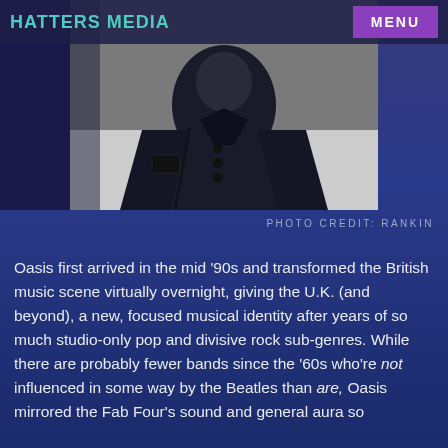HATTERS MEDIA
[Figure (photo): A person wearing a dark hooded jacket, photographed from the torso up against a grey background, face partially obscured]
PHOTO CREDIT: RANKIN
Oasis first arrived in the mid '90s and transformed the British music scene virtually overnight, giving the U.K. (and beyond), a new, focused musical identity after years of so much studio-only pop and divisive rock sub-genres. While there are probably fewer bands since the '60s who're not influenced in some way by the Beatles than are, Oasis mirrored the Fab Four's sound and general aura so